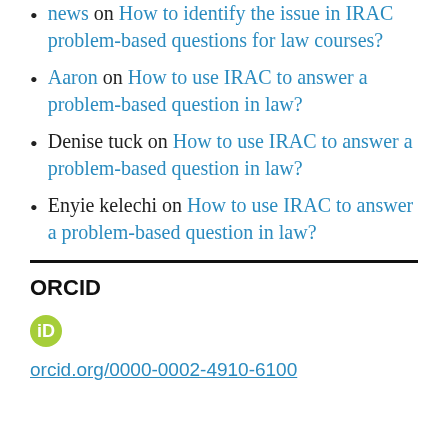news on How to identify the issue in IRAC problem-based questions for law courses?
Aaron on How to use IRAC to answer a problem-based question in law?
Denise tuck on How to use IRAC to answer a problem-based question in law?
Enyie kelechi on How to use IRAC to answer a problem-based question in law?
ORCID
orcid.org/0000-0002-4910-6100